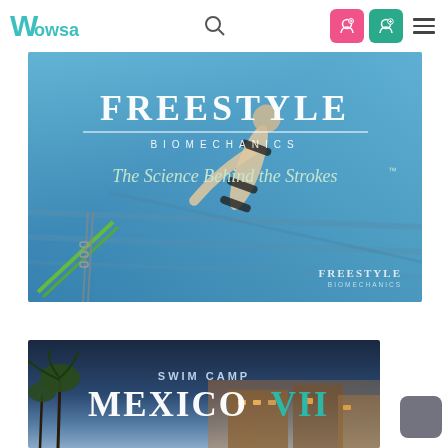Wowsa navigation bar with logo, search icon, login buttons, and hamburger menu
[Figure (photo): Freestyle Biomechanics advertisement image showing an underwater swimmer with text 'FREESTYLE BIOMECHANICS - The Science Behind the Strokes™' on a blue aquatic background]
[Figure (photo): Swim Camp Mexico VII promotional banner image with palm trees and outdoor venue in background]